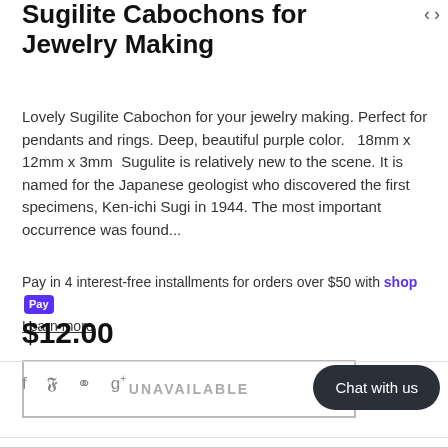Sugilite Cabochons for Jewelry Making
Lovely Sugilite Cabochon for your jewelry making. Perfect for pendants and rings. Deep, beautiful purple color.   18mm x 12mm x 3mm  Sugulite is relatively new to the scene. It is named for the Japanese geologist who discovered the first specimens, Ken-ichi Sugi in 1944. The most important occurrence was found...
Pay in 4 interest-free installments for orders over $50 with shop Pay
Learn more
$12.00
UNAVAILABLE
Chat with us